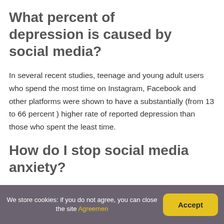What percent of depression is caused by social media?
In several recent studies, teenage and young adult users who spend the most time on Instagram, Facebook and other platforms were shown to have a substantially (from 13 to 66 percent ) higher rate of reported depression than those who spent the least time.
How do I stop social media anxiety?
We store cookies: if you do not agree, you can close the site Agreement